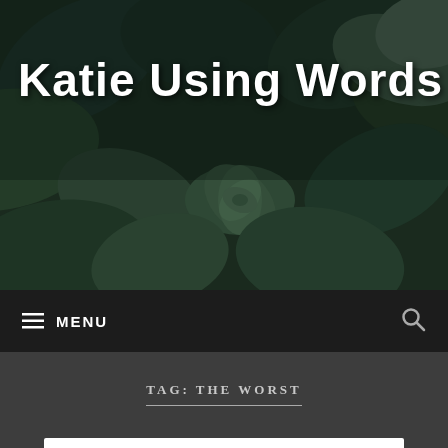[Figure (photo): Header photo showing green succulent plants with dark teal leaves, close-up macro shot. Blog header image for 'Katie Using Words'.]
Katie Using Words
MENU
TAG: THE WORST
Political Correctness: Reflections on Being an